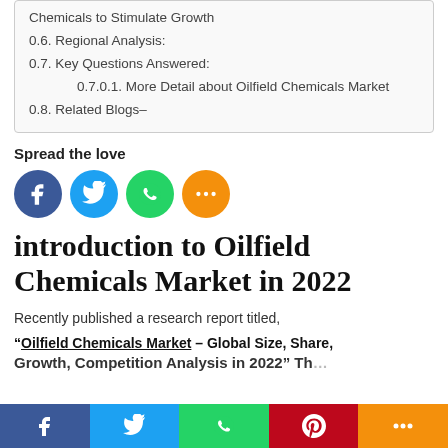0.6. Regional Analysis:
0.7. Key Questions Answered:
0.7.0.1. More Detail about Oilfield Chemicals Market
0.8. Related Blogs-
Spread the love
[Figure (infographic): Social share buttons: Facebook (blue circle), Twitter (light blue circle), WhatsApp (green circle), More (orange circle)]
introduction to Oilfield Chemicals Market in 2022
Recently published a research report titled,
“Oilfield Chemicals Market – Global Size, Share, Growth, Competition Analysis 2022” Th...
Facebook | Twitter | WhatsApp | Pinterest | More